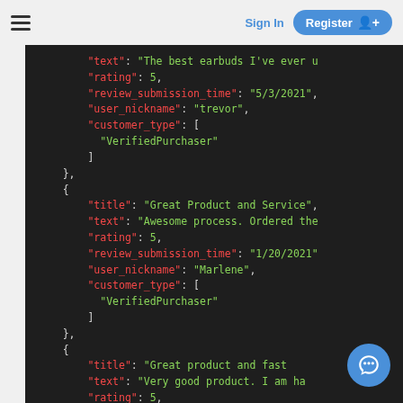Sign In  Register
[Figure (screenshot): A dark-themed code editor panel showing JSON data with product review objects including fields: text, rating, review_submission_time, user_nickname, customer_type with VerifiedPurchaser values. Multiple review objects are shown partially.]